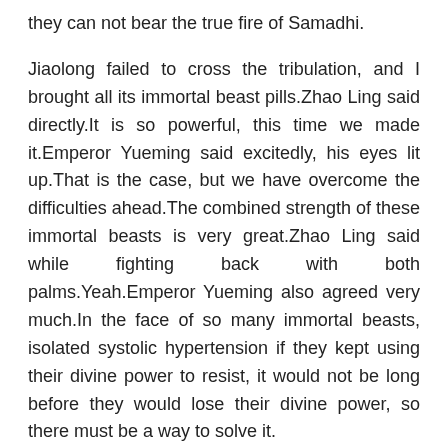they can not bear the true fire of Samadhi.
Jiaolong failed to cross the tribulation, and I brought all its immortal beast pills.Zhao Ling said directly.It is so powerful, this time we made it.Emperor Yueming said excitedly, his eyes lit up.That is the case, but we have overcome the difficulties ahead.The combined strength of these immortal beasts is very great.Zhao Ling said while fighting back with both palms.Yeah.Emperor Yueming also agreed very much.In the face of so many immortal beasts, isolated systolic hypertension if they kept using their divine power to resist, it would not be long before they would lose their divine power, so there must be a way to solve it.
Zhao Ling sneered, this old man seemed to be amiable, but deep down, he had a very serious killing intent towards Zhao Ling Although it was well concealed, it was still seen through by Zhao Ling.